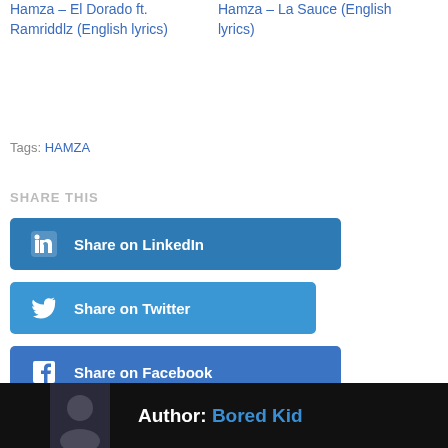Hamza – El Dorado ft. Ramriddlz (English lyrics)
Hamza – La Sauce (English lyrics)
Tags: HAMZA
SHARE THIS
Share on LinkedIn
Share on Twitter
Share on Facebook
Author: Bored Kid